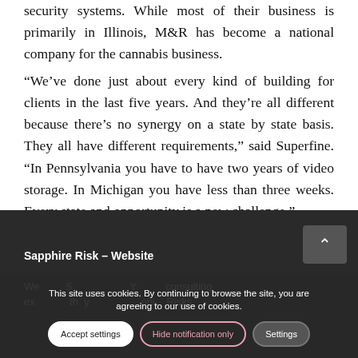security systems. While most of their business is primarily in Illinois, M&R has become a national company for the cannabis business.
“We’ve done just about every kind of building for clients in the last five years. And they’re all different because there’s no synergy on a state by state basis. They all have different requirements,” said Superfine. “In Pennsylvania you have to have two years of video storage. In Michigan you have less than three weeks. Every state and opportunity is a new challenge.”
Sapphire Risk – Website
We... S... Y... consulting ex... th y... phi... Risks
This site uses cookies. By continuing to browse the site, you are agreeing to our use of cookies.